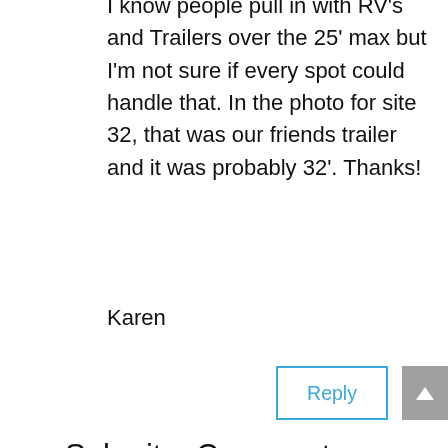I know people pull in with RV's and Trailers over the 25' max but I'm not sure if every spot could handle that. In the photo for site 32, that was our friends trailer and it was probably 32'. Thanks!
Karen
Reply
Submit a Comment
Your email address will not be published. Required fields are marked *